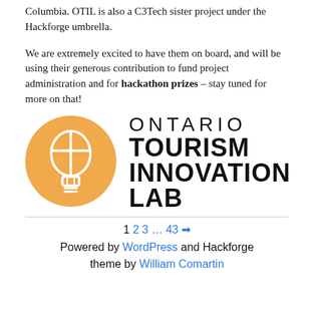Columbia. OTIL is also a C3Tech sister project under the Hackforge umbrella.
We are extremely excited to have them on board, and will be using their generous contribution to fund project administration and for hackathon prizes – stay tuned for more on that!
[Figure (logo): Ontario Tourism Innovation Lab logo: orange circle with white hot air balloon icon on the left, and bold black text reading ONTARIO TOURISM INNOVATION LAB on the right]
1 2 3 … 43 → Powered by WordPress and Hackforge theme by William Comartin